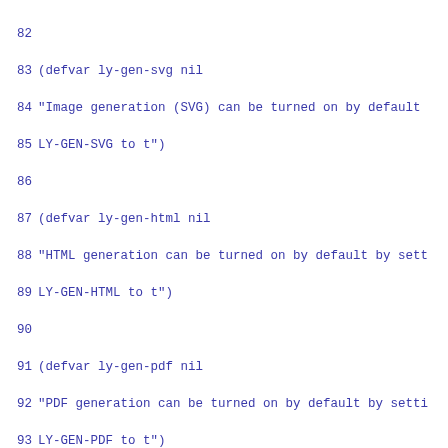Source code listing, lines 82–111, Lisp/Emacs Lisp code for org-babel lilypond integration